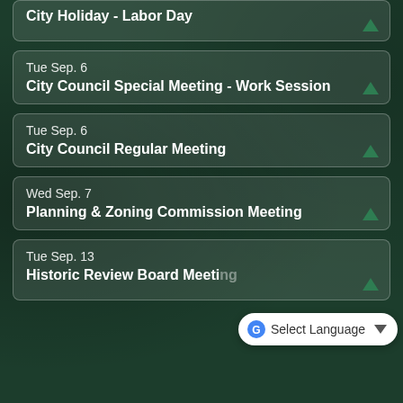City Holiday - Labor Day
Tue Sep. 6
City Council Special Meeting - Work Session
Tue Sep. 6
City Council Regular Meeting
Wed Sep. 7
Planning & Zoning Commission Meeting
Tue Sep. 13
Historic Review Board Meeting